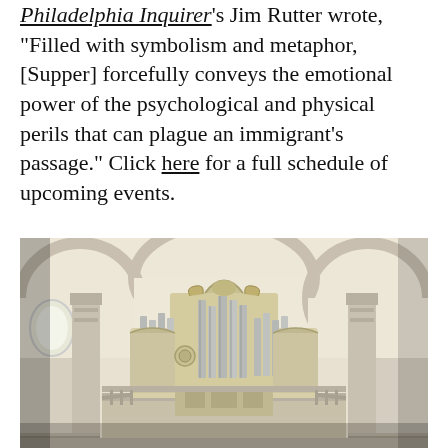Philadelphia Inquirer's Jim Rutter wrote, "Filled with symbolism and metaphor, [Supper] forcefully conveys the emotional power of the psychological and physical perils that can plague an immigrant's passage." Click here for a full schedule of upcoming events.
[Figure (photo): Interior of a church showing a large pipe organ with ornate baroque-style casing, flanked by classical columns, arches, and white walls. The organ pipes are silver/metallic, mounted on a decorated loft.]